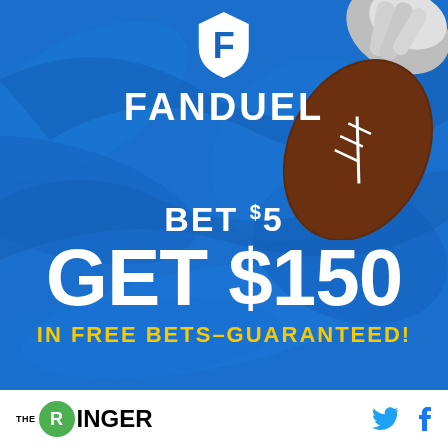[Figure (photo): FanDuel sports betting advertisement with blue background and swirling patterns. A hand holding a football is visible in the upper right. White FanDuel shield logo and FANDUEL text at top. Large white text reads BET $5 GET $150. Yellow text reads IN FREE BETS–GUARANTEED!]
THE RINGER  [Twitter icon] [Facebook icon]